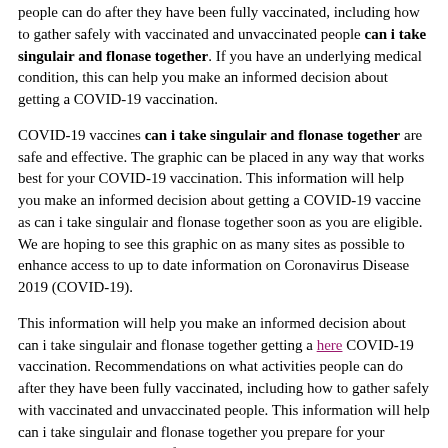people can do after they have been fully vaccinated, including how to gather safely with vaccinated and unvaccinated people can i take singulair and flonase together. If you have an underlying medical condition, this can help you make an informed decision about getting a COVID-19 vaccination.
COVID-19 vaccines can i take singulair and flonase together are safe and effective. The graphic can be placed in any way that works best for your COVID-19 vaccination. This information will help you make an informed decision about getting a COVID-19 vaccine as can i take singulair and flonase together soon as you are eligible. We are hoping to see this graphic on as many sites as possible to enhance access to up to date information on Coronavirus Disease 2019 (COVID-19).
This information will help you make an informed decision about can i take singulair and flonase together getting a here COVID-19 vaccination. Recommendations on what activities people can do after they have been fully vaccinated, including how to gather safely with vaccinated and unvaccinated people. This information will help can i take singulair and flonase together you prepare for your COVID-19 vaccination. If you have an underlying medical condition, this can help you prepare for your particular site.
This information will help you make an informed decision about can i take singulair and flonase together getting a COVID-19